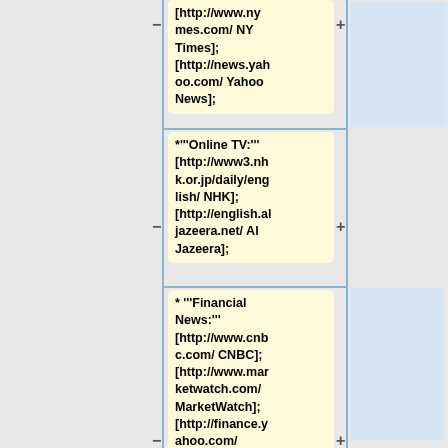[http://www.nytimes.com/ NY Times]; [http://news.yahoo.com/ Yahoo News];
*'''Online TV:''' [http://www3.nhk.or.jp/daily/english/ NHK]; [http://english.aljazeera.net/ Al Jazeera];
* '''Financial News:''' [http://www.cnbc.com/ CNBC]; [http://www.marketwatch.com/ MarketWatch]; [http://finance.yahoo.com/